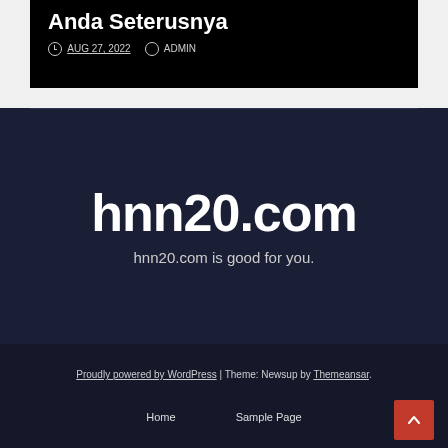Anda Seterusnya
AUG 27, 2022  ADMIN
hnn20.com
hnn20.com is good for you.
Proudly powered by WordPress | Theme: Newsup by Themeansar.
Home   Sample Page